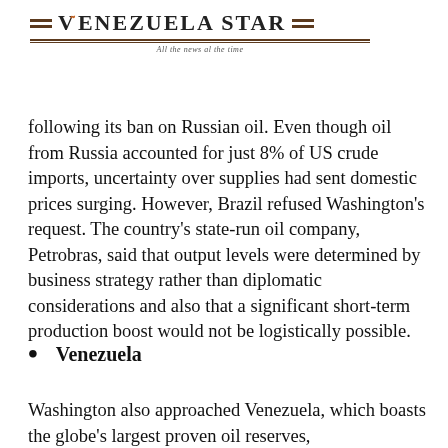Venezuela Star — All the news al the time
following its ban on Russian oil. Even though oil from Russia accounted for just 8% of US crude imports, uncertainty over supplies had sent domestic prices surging. However, Brazil refused Washington's request. The country's state-run oil company, Petrobras, said that output levels were determined by business strategy rather than diplomatic considerations and also that a significant short-term production boost would not be logistically possible.
Venezuela
Washington also approached Venezuela, which boasts the globe's largest proven oil reserves,